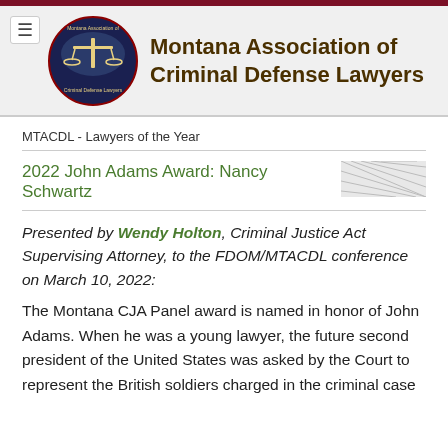[Figure (logo): Montana Association of Criminal Defense Lawyers circular logo with scales of justice on dark blue background, surrounded by Montana state imagery]
Montana Association of Criminal Defense Lawyers
MTACDL - Lawyers of the Year
2022 John Adams Award: Nancy Schwartz
Presented by Wendy Holton, Criminal Justice Act Supervising Attorney, to the FDOM/MTACDL conference on March 10, 2022:
The Montana CJA Panel award is named in honor of John Adams. When he was a young lawyer, the future second president of the United States was asked by the Court to represent the British soldiers charged in the criminal case